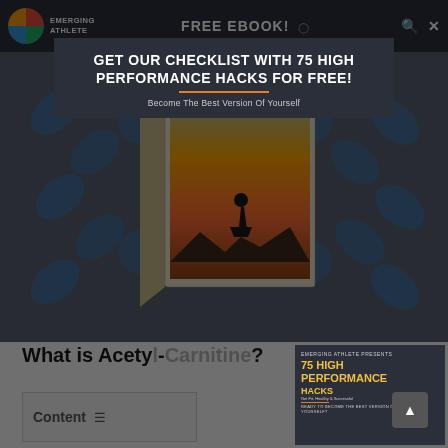EMERGING ATHLETE | FREE EBOOK!
GET OUR CHECKLIST WITH 75 HIGH PERFORMANCE HACKS FOR FREE!
Become The Best Version Of Yourself
But does Acetyl-L-Carnitine help the brain?
[Figure (illustration): Ebook product box showing a silhouette of an athlete standing on a rocky summit at sunset, with 'Emerging Athlete' logo, on a background with blue pills/supplements pattern]
What is Acetyl-L-Carnitine?
[Figure (other): Book panel showing '75 HIGH PERFORMANCE HACKS' ebook cover with orange title text on dark background]
Content